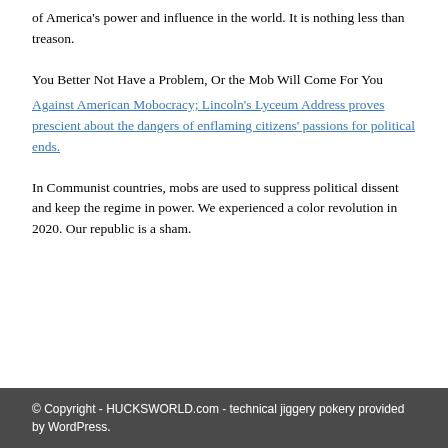of America's power and influence in the world. It is nothing less than treason.
You Better Not Have a Problem, Or the Mob Will Come For You
Against American Mobocracy; Lincoln's Lyceum Address proves prescient about the dangers of enflaming citizens' passions for political ends.
In Communist countries, mobs are used to suppress political dissent and keep the regime in power. We experienced a color revolution in 2020. Our republic is a sham.
© Copyright - HUCKSWORLD.com - technical jiggery pokery provided by WordPress.